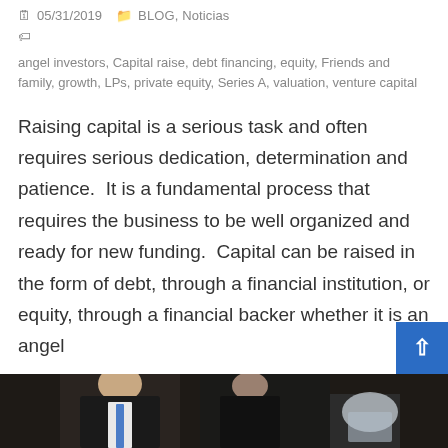05/31/2019  BLOG, Noticias
angel investors, Capital raise, debt financing, equity, Friends and family, growth, LPs, private equity, Series A, valuation, venture capital
Raising capital is a serious task and often requires serious dedication, determination and patience.  It is a fundamental process that requires the business to be well organized and ready for new funding.  Capital can be raised in the form of debt, through a financial institution, or equity, through a financial backer whether it is an angel
Read More →
[Figure (photo): Photo of a person in a suit at a meeting table, partially cropped at bottom of page]